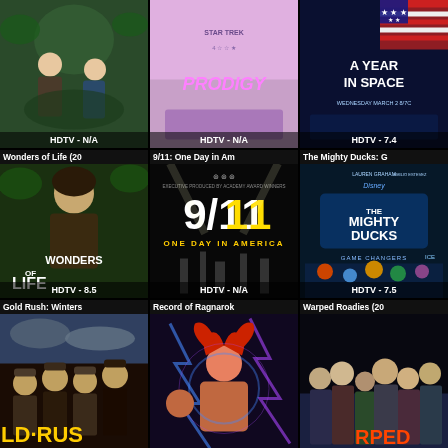[Figure (screenshot): TV show grid display with 9 items showing titles and HDTV ratings. Row 1: anime show (HDTV-N/A), Star Trek Prodigy (HDTV-N/A), A Year in Space (HDTV-7.4). Row 2: Wonders of Life 20xx (HDTV-8.5), 9/11 One Day in America (HDTV-N/A), The Mighty Ducks: Game Changers (HDTV-7.5). Row 3: Gold Rush: Winters (partial), Record of Ragnarok (partial), Warped Roadies 20xx (partial).]